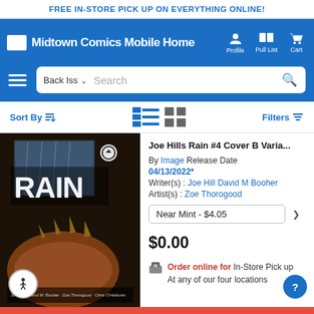FREE IN-STORE PICK UP ON EVERYTHING ONLINE!
[Figure (screenshot): Midtown Comics mobile website navigation bar with logo, Profile, Pull List, and Cart icons]
[Figure (screenshot): Search bar with Back Issues dropdown and search input]
Sort By | Filters
[Figure (photo): Comic book cover for Joe Hills Rain #4 Cover B Variant showing RAIN title and creature artwork]
Joe Hills Rain #4 Cover B Varia...
By Image Release Date
04/13/2022*
Writer(s) : Joe Hill David M Booher
Artist(s) : Zoe Thorogood
Near Mint - $4.05
$0.00
Order online for In-Store Pick up
At any of our four locations